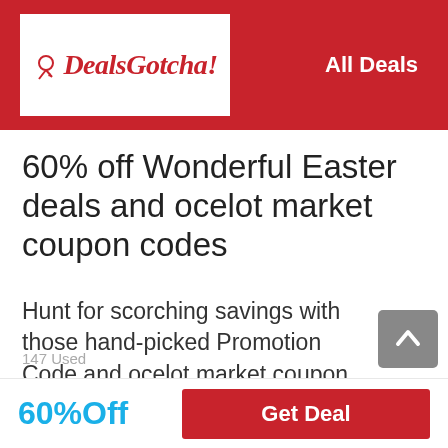DealsGotcha! | All Deals
60% off Wonderful Easter deals and ocelot market coupon codes
Hunt for scorching savings with those hand-picked Promotion Code and ocelot market coupon codes. Save 60% on average by using Voucher Code during check out. Click it without hesitate.
147 Used
60%Off
Get Deal